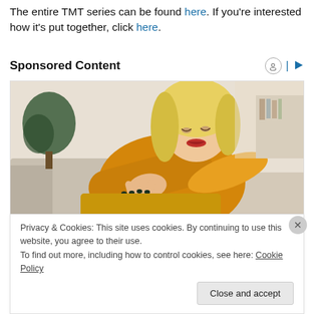The entire TMT series can be found here. If you're interested how it's put together, click here.
Sponsored Content
[Figure (photo): Woman in yellow knit sweater with blonde hair looking down at her elbow/arm, scratching it. She is seated on a couch in a home setting with plants visible in the background.]
Privacy & Cookies: This site uses cookies. By continuing to use this website, you agree to their use.
To find out more, including how to control cookies, see here: Cookie Policy
Close and accept